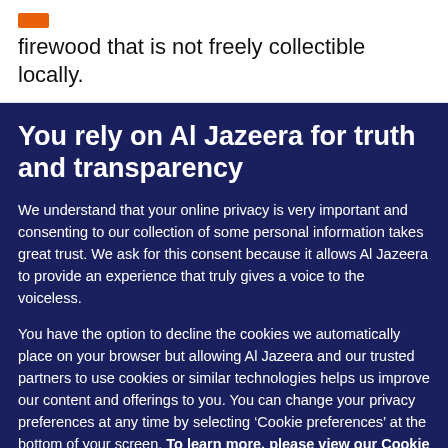firewood that is not freely collectible locally.
You rely on Al Jazeera for truth and transparency
We understand that your online privacy is very important and consenting to our collection of some personal information takes great trust. We ask for this consent because it allows Al Jazeera to provide an experience that truly gives a voice to the voiceless.
You have the option to decline the cookies we automatically place on your browser but allowing Al Jazeera and our trusted partners to use cookies or similar technologies helps us improve our content and offerings to you. You can change your privacy preferences at any time by selecting ‘Cookie preferences’ at the bottom of your screen. To learn more, please view our Cookie Policy.